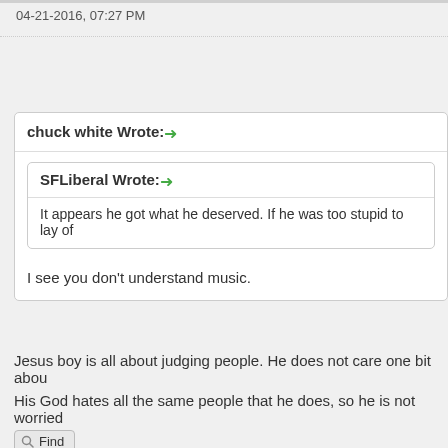04-21-2016, 07:27 PM
chuck white Wrote: ➡
SFLiberal Wrote: ➡
It appears he got what he deserved.  If he was too stupid to lay of
I see you don't understand music.
Jesus boy is all about judging people. He does not care one bit abou
His God hates all the same people that he does, so he is not worried
Valuesize
Forum User